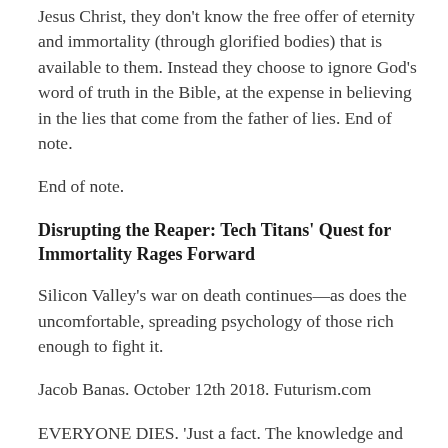Jesus Christ, they don't know the free offer of eternity and immortality (through glorified bodies) that is available to them. Instead they choose to ignore God's word of truth in the Bible, at the expense in believing in the lies that come from the father of lies. End of note.
End of note.
Disrupting the Reaper: Tech Titans' Quest for Immortality Rages Forward
Silicon Valley's war on death continues—as does the uncomfortable, spreading psychology of those rich enough to fight it.
Jacob Banas. October 12th 2018. Futurism.com
EVERYONE DIES. 'Just a fact. The knowledge and subsequent fear of our impending doom drives the